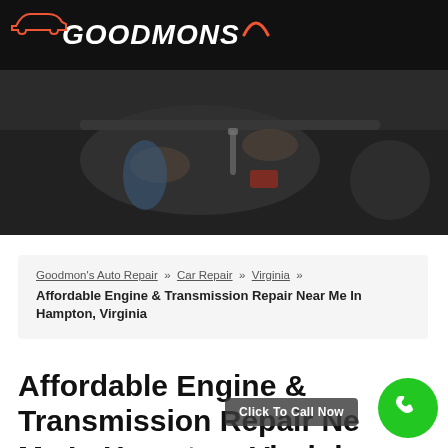GOODMONS
[Figure (photo): Mechanic hands working on a car engine, dark toned automotive repair shop background]
Goodmon's Auto Repair » Car Repair » Virginia » Affordable Engine & Transmission Repair Near Me In Hampton, Virginia
Affordable Engine & Transmission Repair Near Me In Hampton, Virginia